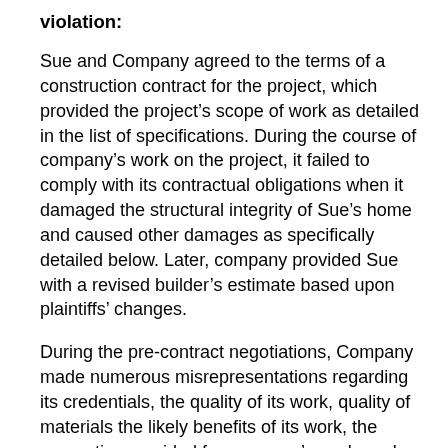violation:
Sue and Company agreed to the terms of a construction contract for the project, which provided the project’s scope of work as detailed in the list of specifications. During the course of company’s work on the project, it failed to comply with its contractual obligations when it damaged the structural integrity of Sue’s home and caused other damages as specifically detailed below. Later, company provided Sue with a revised builder’s estimate based upon plaintiffs’ changes.
During the pre-contract negotiations, Company made numerous misrepresentations regarding its credentials, the quality of its work, quality of materials the likely benefits of its work, the warranties provided for company’s work, and